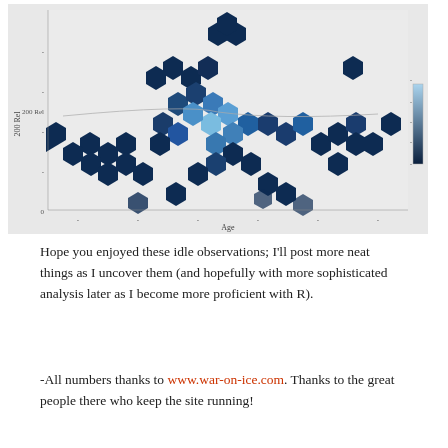[Figure (continuous-plot): Hexbin density plot with a curved trend line. X-axis labeled 'Age', Y-axis labeled '200 Rel'. Hexagons colored from dark navy (low density) to light blue (high density). A color legend bar appears on the right side showing the density scale. Most hexagons are dark navy; the center-left region has lighter blue indicating higher density.]
Hope you enjoyed these idle observations; I'll post more neat things as I uncover them (and hopefully with more sophisticated analysis later as I become more proficient with R).
-All numbers thanks to www.war-on-ice.com. Thanks to the great people there who keep the site running!